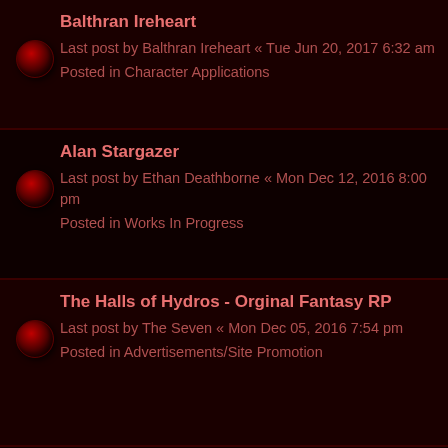Balthran Ireheart
Last post by Balthran Ireheart « Tue Jun 20, 2017 6:32 am
Posted in Character Applications
Alan Stargazer
Last post by Ethan Deathborne « Mon Dec 12, 2016 8:00 pm
Posted in Works In Progress
The Halls of Hydros - Orginal Fantasy RP
Last post by The Seven « Mon Dec 05, 2016 7:54 pm
Posted in Advertisements/Site Promotion
Daily Tattler Special Edition May 30, PW 122
Last post by Metarie « Sun Dec 04, 2016 3:44 am